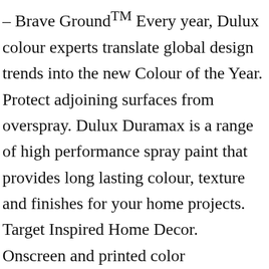– Brave Ground™ Every year, Dulux colour experts translate global design trends into the new Colour of the Year. Protect adjoining surfaces from overspray. Dulux Duramax is a range of high performance spray paint that provides long lasting colour, texture and finishes for your home projects. Target Inspired Home Decor. Onscreen and printed color representations may vary from actual paint colors. Available in store only. Dulux Duramax Bright Finish is a fast drying spray paint delivering a brilliant bright finish on special projects inside and outside the home. See in store. Paint your